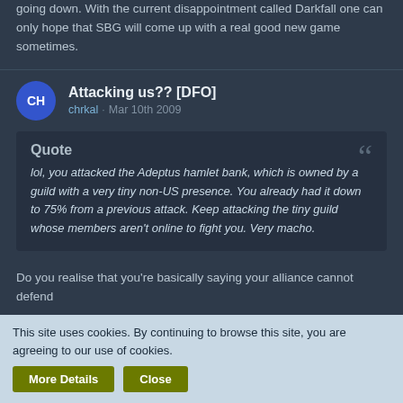going down. With the current disappointment called Darkfall one can only hope that SBG will come up with a real good new game sometimes.
Attacking us?? [DFO]
chrkal · Mar 10th 2009
Quote
lol, you attacked the Adeptus hamlet bank, which is owned by a guild with a very tiny non-US presence. You already had it down to 75% from a previous attack. Keep attacking the tiny guild whose members aren't online to fight you. Very macho.
Do you realise that you're basically saying your alliance cannot defend
This site uses cookies. By continuing to browse this site, you are agreeing to our use of cookies.